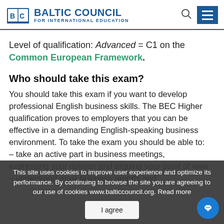[Figure (logo): Baltic Council for International Education logo with book icon and blue text]
Level of qualification: Advanced = C1 on the Common European Framework.
Who should take this exam?
You should take this exam if you want to develop professional English business skills. The BEC Higher qualification proves to employers that you can be effective in a demanding English-speaking business environment. To take the exam you should be able to:
– take an active part in business meetings,
– expressing your opinion and arguing your point of view
– understand most business reports and
This site uses cookies to improve user experience and optimize its performance. By continuing to browse the site you are agreeing to our use of cookies www.balticcouncil.org. Read more
I agree